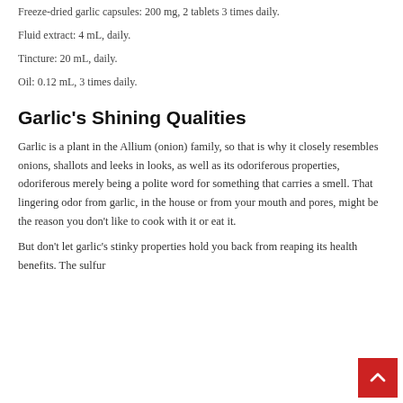Freeze-dried garlic capsules:  200 mg, 2 tablets 3 times daily.
Fluid extract:  4 mL, daily.
Tincture:  20 mL, daily.
Oil:  0.12 mL, 3 times daily.
Garlic's Shining Qualities
Garlic is a plant in the Allium (onion) family, so that is why it closely resembles onions, shallots and leeks in looks, as well as its odoriferous properties, odoriferous merely being a polite word for something that carries a smell.  That lingering odor from garlic, in the house or from your mouth and pores, might be the reason you don't like to cook with it or eat it.
But don't let garlic's stinky properties hold you back from reaping its health benefits.  The sulfur